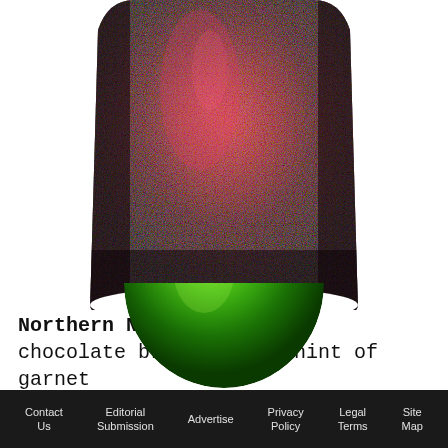[Figure (photo): Close-up of a nail painted in a rich dark chocolate brown with garnet shimmer, rounded nail shape on white background]
Northern Nightcap – Rich, chocolate brown with a hint of garnet
[Figure (photo): Close-up of a nail painted in a vivid metallic green, rounded nail shape on white background, partially cropped]
Contact Us   Editorial Submission   Advertise   Privacy Policy   Legal Terms   Site Map